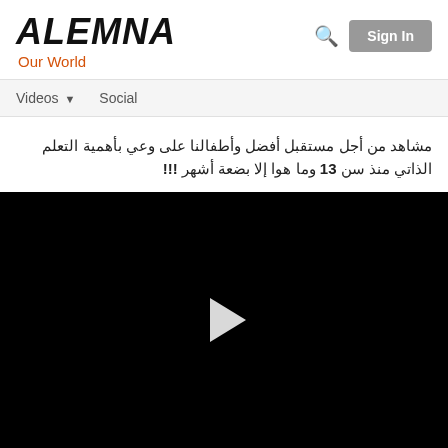ALEMNA Our World
Videos ▾   Social
Arabic title text with number 13 and exclamation marks !!!
[Figure (screenshot): Black video player area with a white play button triangle in the center]